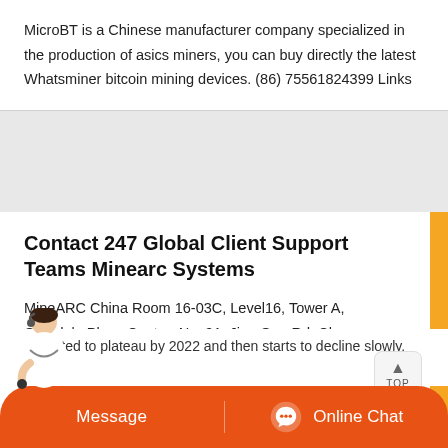MicroBT is a Chinese manufacturer company specialized in the production of asics miners, you can buy directly the latest Whatsminer bitcoin mining devices. (86) 75561824399 Links
Contact 247 Global Client Support Teams Minearc Systems
MineARC China Room 16-03C, Level16, Tower A, Gemdale Plaza Centre, No. 91, Jian Guo Rd, Chaoyang District, Beijing 100022, China 86 10 5920 8299 / fax 86 10 5920 8111
Top 10 Largest Coal Mining Companies In The World 2020
Chinas coal power generation continues to grow, although at a slowing expected to plateau by 2022 and then starts to decline slowly. Top 10